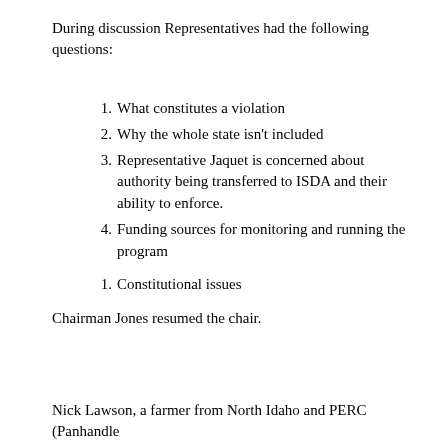During discussion Representatives had the following questions:
1. What constitutes a violation
2. Why the whole state isn't included
3. Representative Jaquet is concerned about authority being transferred to ISDA and their ability to enforce.
4. Funding sources for monitoring and running the program
1. Constitutional issues
Chairman Jones resumed the chair.
Nick Lawson, a farmer from North Idaho and PERC (Panhandle